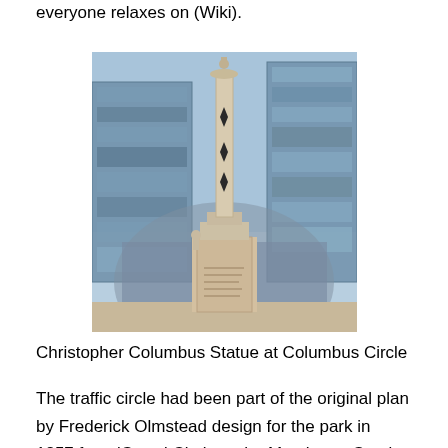everyone relaxes on (Wiki).
[Figure (photo): Christopher Columbus Statue at Columbus Circle — a tall ornate column with a figure on top, flanked by modern glass skyscrapers in the background, against a blue sky.]
Christopher Columbus Statue at Columbus Circle
The traffic circle had been part of the original plan by Frederick Olmstead design for the park in 1857 for a 'Grand Circle at the Merchants Gate' and the entrance to